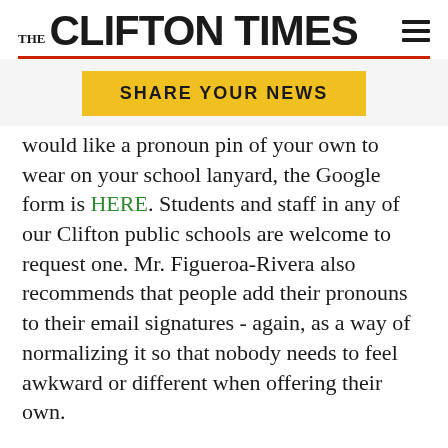THE CLIFTON TIMES
[Figure (other): Yellow 'SHARE YOUR NEWS' button]
would like a pronoun pin of your own to wear on your school lanyard, the Google form is HERE. Students and staff in any of our Clifton public schools are welcome to request one. Mr. Figueroa-Rivera also recommends that people add their pronouns to their email signatures - again, as a way of normalizing it so that nobody needs to feel awkward or different when offering their own.
Mr. Figueroa-Rivera's advice to parents who may be unsure of how to respond if their child